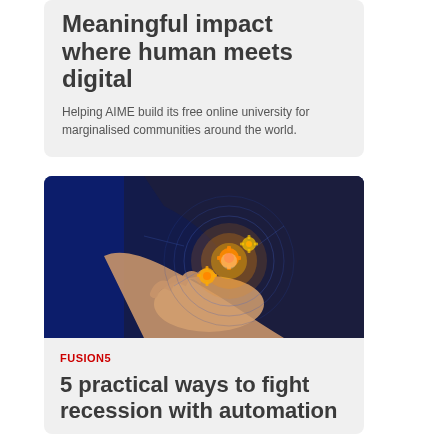Meaningful impact where human meets digital
Helping AIME build its free online university for marginalised communities around the world.
[Figure (photo): Person in suit holding glowing digital gear icons on an open palm against a blue background]
FUSION5
5 practical ways to fight recession with automation